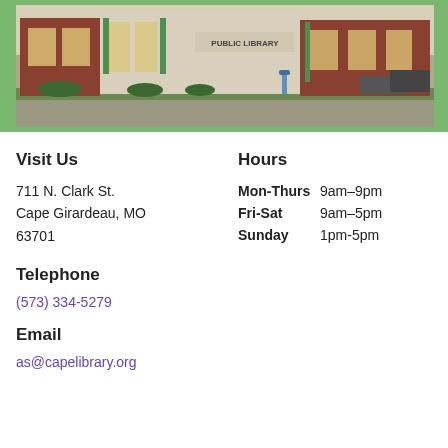[Figure (photo): Exterior photograph of a public library building with red brick and white panel facade, illuminated windows, and green accents. Signage reads 'PUBLIC LIBRARY'.]
Visit Us
711 N. Clark St.
Cape Girardeau, MO 63701
Hours
Mon-Thurs   9am–9pm
Fri-Sat        9am–5pm
Sunday        1pm-5pm
Telephone
(573) 334-5279
Email
as@capelibrary.org